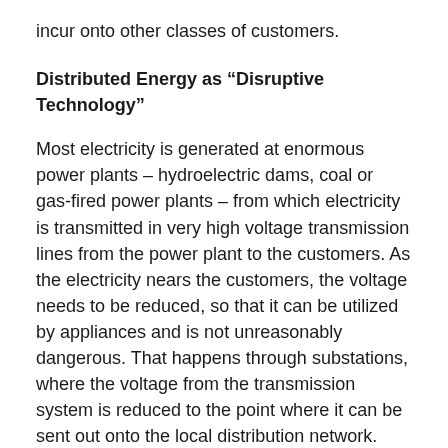incur onto other classes of customers.
Distributed Energy as “Disruptive Technology”
Most electricity is generated at enormous power plants – hydroelectric dams, coal or gas-fired power plants – from which electricity is transmitted in very high voltage transmission lines from the power plant to the customers. As the electricity nears the customers, the voltage needs to be reduced, so that it can be utilized by appliances and is not unreasonably dangerous. That happens through substations, where the voltage from the transmission system is reduced to the point where it can be sent out onto the local distribution network. The lines on the distribution side of the substation carry far less energy then the line from the transmission side of the substation.